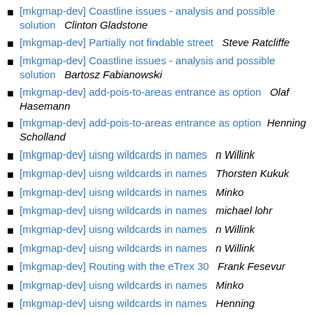[mkgmap-dev] Coastline issues - analysis and possible solution   Clinton Gladstone
[mkgmap-dev] Partially not findable street   Steve Ratcliffe
[mkgmap-dev] Coastline issues - analysis and possible solution   Bartosz Fabianowski
[mkgmap-dev] add-pois-to-areas entrance as option   Olaf Hasemann
[mkgmap-dev] add-pois-to-areas entrance as option   Henning Scholland
[mkgmap-dev] uisng wildcards in names   n Willink
[mkgmap-dev] uisng wildcards in names   Thorsten Kukuk
[mkgmap-dev] uisng wildcards in names   Minko
[mkgmap-dev] uisng wildcards in names   michael lohr
[mkgmap-dev] uisng wildcards in names   n Willink
[mkgmap-dev] uisng wildcards in names   n Willink
[mkgmap-dev] Routing with the eTrex 30   Frank Fesevur
[mkgmap-dev] uisng wildcards in names   Minko
[mkgmap-dev] uisng wildcards in names   Henning